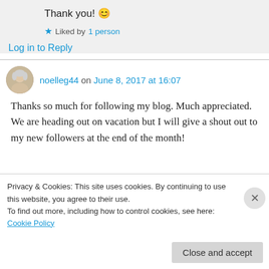Thank you! 😊
★ Liked by 1 person
Log in to Reply
noelleg44 on June 8, 2017 at 16:07
Thanks so much for following my blog. Much appreciated. We are heading out on vacation but I will give a shout out to my new followers at the end of the month!
Privacy & Cookies: This site uses cookies. By continuing to use this website, you agree to their use.
To find out more, including how to control cookies, see here: Cookie Policy
Close and accept